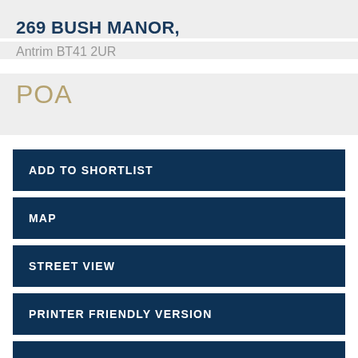269 BUSH MANOR,
Antrim BT41 2UR
POA
ADD TO SHORTLIST
MAP
STREET VIEW
PRINTER FRIENDLY VERSION
SHARE
MAKE ENQUIRY